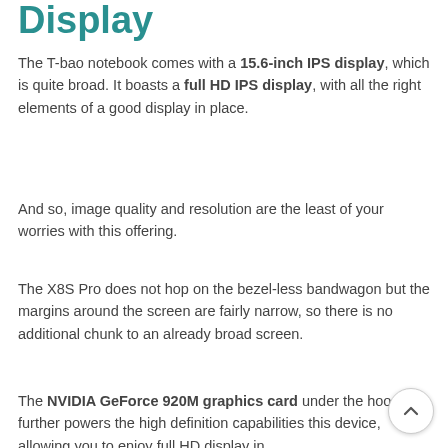Display
The T-bao notebook comes with a 15.6-inch IPS display, which is quite broad. It boasts a full HD IPS display, with all the right elements of a good display in place.
And so, image quality and resolution are the least of your worries with this offering.
The X8S Pro does not hop on the bezel-less bandwagon but the margins around the screen are fairly narrow, so there is no additional chunk to an already broad screen.
The NVIDIA GeForce 920M graphics card under the hood further powers the high definition capabilities this device, allowing you to enjoy full HD display in